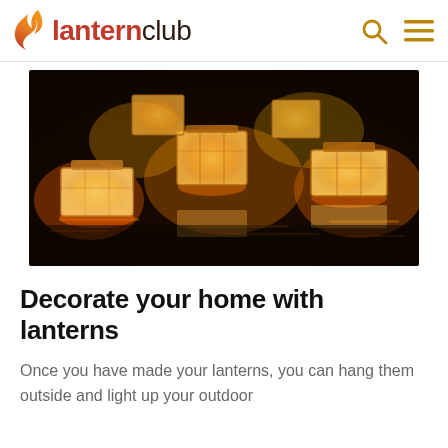lanternclub
[Figure (photo): Multiple glowing paper lanterns floating on dark water, illuminated from within with warm orange-gold light, reflecting on the water surface]
Decorate your home with lanterns
Once you have made your lanterns, you can hang them outside and light up your outdoor